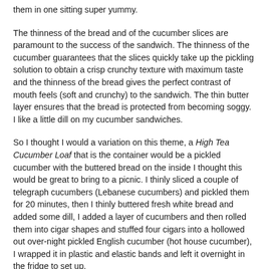them in one sitting super yummy.
The thinness of the bread and of the cucumber slices are paramount to the success of the sandwich. The thinness of the cucumber guarantees that the slices quickly take up the pickling solution to obtain a crisp crunchy texture with maximum taste and the thinness of the bread gives the perfect contrast of mouth feels (soft and crunchy) to the sandwich. The thin butter layer ensures that the bread is protected from becoming soggy. I like a little dill on my cucumber sandwiches.
So I thought I would a variation on this theme, a High Tea Cucumber Loaf that is the container would be a pickled cucumber with the buttered bread on the inside I thought this would be great to bring to a picnic. I thinly sliced a couple of telegraph cucumbers (Lebanese cucumbers) and pickled them for 20 minutes, then I thinly buttered fresh white bread and added some dill, I added a layer of cucumbers and then rolled them into cigar shapes and stuffed four cigars into a hollowed out over-night pickled English cucumber (hot house cucumber), I wrapped it in plastic and elastic bands and left it overnight in the fridge to set up.